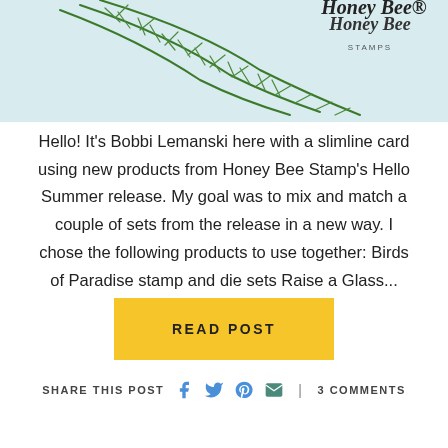[Figure (photo): Green leafy plant branches against a light blue background, with 'Honey Bee STAMPS' script logo in top right corner]
Hello! It's Bobbi Lemanski here with a slimline card using new products from Honey Bee Stamp's Hello Summer release. My goal was to mix and match a couple of sets from the release in a new way. I chose the following products to use together: Birds of Paradise stamp and die sets Raise a Glass...
READ POST
SHARE THIS POST   |   3 COMMENTS